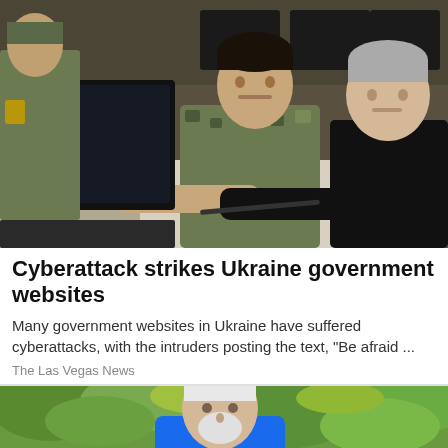[Figure (photo): Two men at a computer workstation in what appears to be a military operations center. One man in military camouflage uniform is seated, and another man in a black shirt is pointing at the computer screen. Other workstations visible in the background.]
Cyberattack strikes Ukraine government websites
Many government websites in Ukraine have suffered cyberattacks, with the intruders posting the text, "Be afraid ...
The Las Vegas News
[Figure (photo): An elderly man with white hair and beard wearing a bright blue jacket, photographed outdoors with green foliage in the background.]